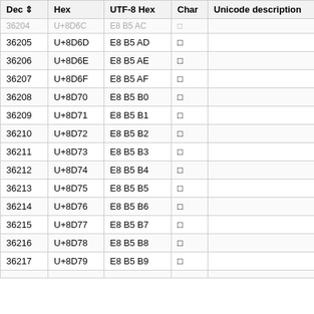| Dec ⇕ | Hex | UTF-8 Hex | Char | Unicode description |
| --- | --- | --- | --- | --- |
| 36204 | U+8D6C | E8 B5 AC | 󈵬 |  |
| 36205 | U+8D6D | E8 B5 AD | 󈵭 |  |
| 36206 | U+8D6E | E8 B5 AE | 󈵮 |  |
| 36207 | U+8D6F | E8 B5 AF | 󈵯 |  |
| 36208 | U+8D70 | E8 B5 B0 | 󈵰 |  |
| 36209 | U+8D71 | E8 B5 B1 | 󈵱 |  |
| 36210 | U+8D72 | E8 B5 B2 | 󈵲 |  |
| 36211 | U+8D73 | E8 B5 B3 | 󈵳 |  |
| 36212 | U+8D74 | E8 B5 B4 | 󈵴 |  |
| 36213 | U+8D75 | E8 B5 B5 | 󈵵 |  |
| 36214 | U+8D76 | E8 B5 B6 | 󈵶 |  |
| 36215 | U+8D77 | E8 B5 B7 | 󈵷 |  |
| 36216 | U+8D78 | E8 B5 B8 | 󈵸 |  |
| 36217 | U+8D79 | E8 B5 B9 | 󈵹 |  |